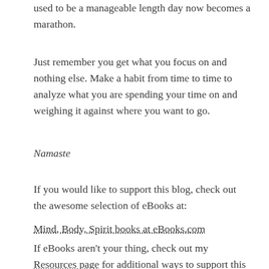used to be a manageable length day now becomes a marathon.
Just remember you get what you focus on and nothing else. Make a habit from time to time to analyze what you are spending your time on and weighing it against where you want to go.
Namaste
If you would like to support this blog, check out the awesome selection of eBooks at:
Mind, Body, Spirit books at eBooks.com
If eBooks aren't your thing, check out my Resources page for additional ways to support this blog.